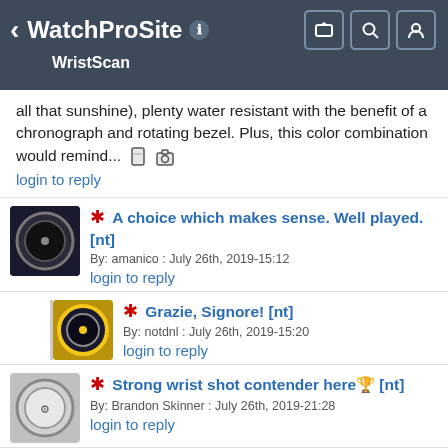WatchProSite / WristScan
all that sunshine), plenty water resistant with the benefit of a chronograph and rotating bezel. Plus, this color combination would remind...
login to reply
❋ A choice which makes sense. Well played. [nt]
By: amanico : July 26th, 2019-15:12
login to reply
❋ Grazie, Signore! [nt]
By: notdnl : July 26th, 2019-15:20
login to reply
❋ Strong wrist shot contender here🏆 [nt]
By: Brandon Skinner : July 26th, 2019-21:28
login to reply
❋ That´s a Great shot notdl !!! And a very nice choice! Hagwe! Abel
By: Subexplorer : July 27th, 2019-15:41
No message body